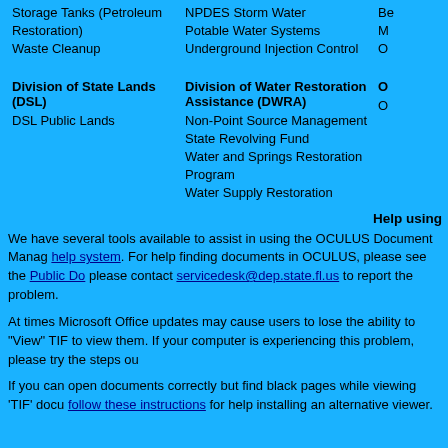Storage Tanks (Petroleum Restoration)
Waste Cleanup
NPDES Storm Water
Potable Water Systems
Underground Injection Control
Division of State Lands (DSL)
DSL Public Lands
Division of Water Restoration Assistance (DWRA)
Non-Point Source Management
State Revolving Fund
Water and Springs Restoration Program
Water Supply Restoration
Help using
We have several tools available to assist in using the OCULUS Document Manag help system. For help finding documents in OCULUS, please see the Public Do please contact servicedesk@dep.state.fl.us to report the problem.
At times Microsoft Office updates may cause users to lose the ability to "View" TIF to view them. If your computer is experiencing this problem, please try the steps ou
If you can open documents correctly but find black pages while viewing 'TIF' docu follow these instructions for help installing an alternative viewer.
If you find that you cannot view or open a document type of '.MSG', '.PST', or '.OS
Please visit .MSG viewer download page to download the free Mail Viewer or vis viewing these file formats outside of MS Outlook.
If you're still having trouble, please contact servicedesk@dep.state.fl.us for assista